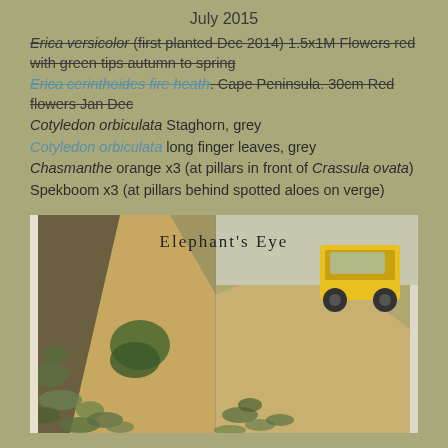July 2015
Erica versicolor (first planted Dec 2014) 1.5x1M Flowers red with green tips autumn to spring [strikethrough]
Erica cerinthoides fire heath. Cape Peninsula. 30cm Red flowers Jan Dec [strikethrough]
Cotyledon orbiculata Staghorn, grey
Cotyledon orbiculata long finger leaves, grey
Chasmanthe orange x3 (at pillars in front of Crassula ovata)
Spekboom x3 (at pillars behind spotted aloes on verge)
[Figure (photo): Two side-by-side garden photos showing a narrow planting bed between a wall and paved path. Left photo shows young plants in soil with a triangular paved path. Right photo shows a yellow vehicle visible in background. Text overlay reads Elephant's Eye.]